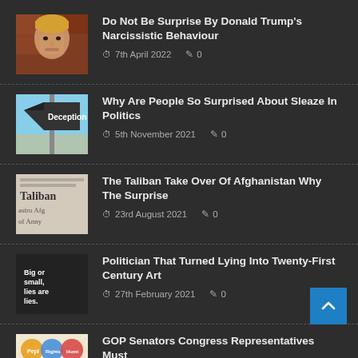Do Not Be Surprise By Donald Trump's Narcissistic Behaviour | 7th April 2022 | 0 comments
Why Are People So Surprised About Sleaze In Politics | 5th November 2021 | 0 comments
The Taliban Take Over Of Afghanistan Why The Surprise | 23rd August 2021 | 0 comments
Politician That Turned Lying Into Twenty-First Century Art | 27th February 2021 | 0 comments
GOP Senators Congress Representatives Must